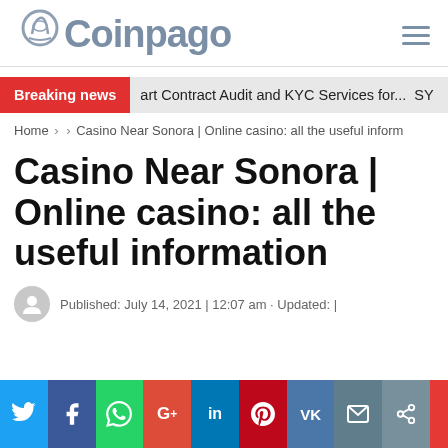Coinpago
Breaking news · art Contract Audit and KYC Services for... SY
Home > > Casino Near Sonora | Online casino: all the useful inform
Casino Near Sonora | Online casino: all the useful information
Published: July 14, 2021 | 12:07 am · Updated: |